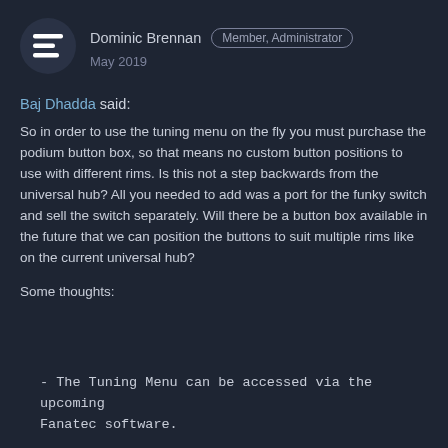[Figure (logo): Fanatec logo avatar, dark circular background with white stylized F icon]
Dominic Brennan  Member, Administrator
May 2019
Baj Dhadda said:

So in order to use the tuning menu on the fly you must purchase the podium button box, so that means no custom button positions to use with different rims. Is this not a step backwards from the universal hub? All you needed to add was a port for the funky switch and sell the switch separately. Will there be a button box available in the future that we can position the buttons to suit multiple rims like on the current universal hub?
Some thoughts:
- The Tuning Menu can be accessed via the upcoming Fanatec software.